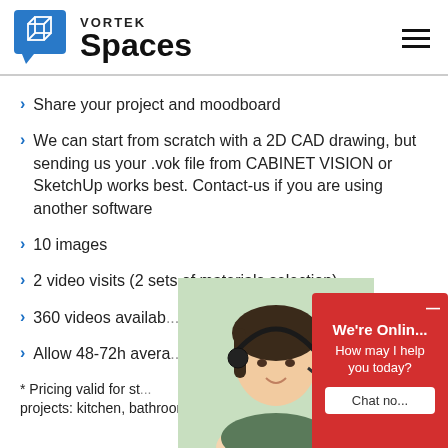[Figure (logo): Vortek Spaces logo with blue cube speech bubble icon on left, text 'VORTEK Spaces' on right]
Share your project and moodboard
We can start from scratch with a 2D CAD drawing, but sending us your .vok file from CABINET VISION or SketchUp works best. Contact-us if you are using another software
10 images
2 video visits (2 sets of materials selection)
360 videos availab...
Allow 48-72h avera...
* Pricing valid for st... projects: kitchen, bathroom, walk-in
[Figure (photo): Woman wearing headset smiling, customer service representative]
[Figure (screenshot): Red chat widget overlay: 'We're Onlin... How may I help you today?' with 'Chat no...' button]